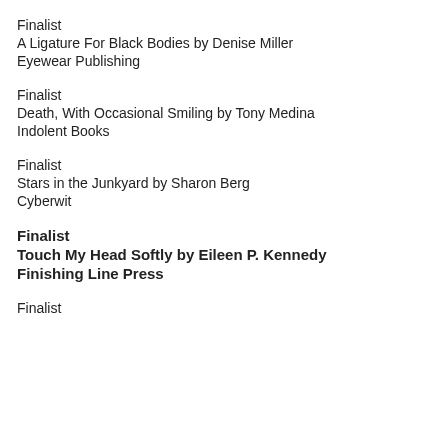Finalist
A Ligature For Black Bodies by Denise Miller
Eyewear Publishing
Finalist
Death, With Occasional Smiling by Tony Medina
Indolent Books
Finalist
Stars in the Junkyard by Sharon Berg
Cyberwit
Finalist
Touch My Head Softly by Eileen P. Kennedy
Finishing Line Press
Finalist